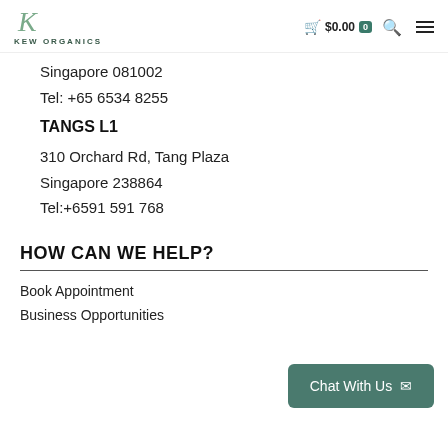KEW ORGANICS — $0.00 cart
Singapore 081002
Tel: +65 6534 8255
TANGS L1
310 Orchard Rd, Tang Plaza
Singapore 238864
Tel:+6591 591 768
HOW CAN WE HELP?
Book Appointment
Business Opportunities
Chat With Us